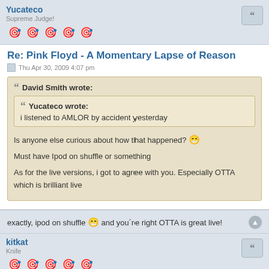Yucateco
Supreme Judge!
Re: Pink Floyd - A Momentary Lapse of Reason
Thu Apr 30, 2009 4:07 pm
David Smith wrote:
Yucateco wrote:
i listened to AMLOR by accident yesterday
Is anyone else curious about how that happened?
Must have Ipod on shuffle or something
As for the live versions, i got to agree with you. Especially OTTA which is brilliant live
exactly, ipod on shuffle and you´re right OTTA is great live!
kitkat
Knife